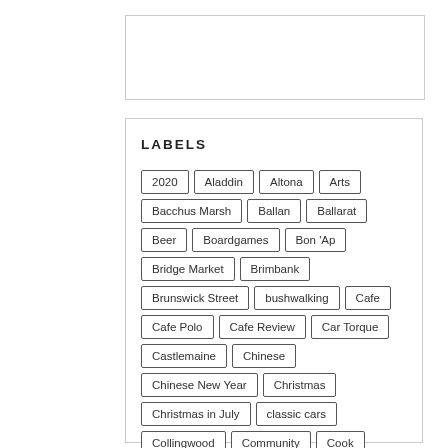[Figure (other): Empty white box at the top of the page]
LABELS
2020
Aladdin
Altona
Arts
Bacchus Marsh
Ballan
Ballarat
Beer
Boardgames
Bon 'Ap
Bridge Market
Brimbank
Brunswick Street
bushwalking
Cafe
Cafe Polo
Cafe Review
Car Torque
Castlemaine
Chinese
Chinese New Year
Christmas
Christmas in July
classic cars
Collingwood
Community
Cook
Country
Crown
Culture